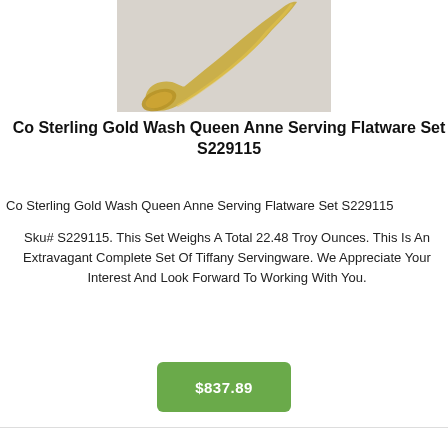[Figure (photo): Close-up photo of a gold-washed sterling silver flatware piece (spoon/serving utensil handle) against a light grey background]
Co Sterling Gold Wash Queen Anne Serving Flatware Set S229115
Co Sterling Gold Wash Queen Anne Serving Flatware Set S229115
Sku# S229115. This Set Weighs A Total 22.48 Troy Ounces. This Is An Extravagant Complete Set Of Tiffany Servingware. We Appreciate Your Interest And Look Forward To Working With You.
$837.89